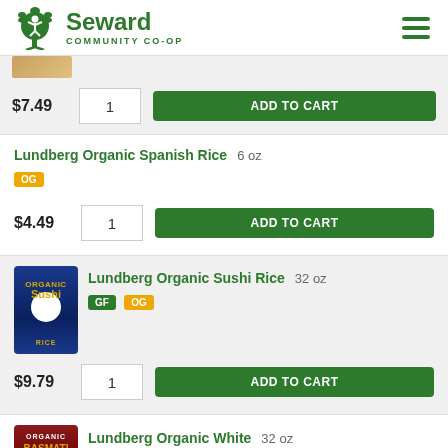Seward Community Co-op
$7.49  1  ADD TO CART
Lundberg Organic Spanish Rice  6 oz  OG  $4.49  1  ADD TO CART
Lundberg Organic Sushi Rice  32 oz  GF  OG  $9.79  1  ADD TO CART
Lundberg Organic White Basmati Rice  32 oz